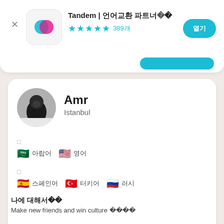Tandem | 언어교환 파트너 찾기 ★★★★½ 389개
[Figure (screenshot): Tandem app icon with teal and pink overlapping speech bubbles on white rounded square background]
Amr
Istanbul
🇸🇦 아랍어  🇺🇸 영어
🇪🇸 스페인어  🇹🇷 터키어  🇷🇺 러시
나에 대해서
Make new friends and win culture 교환